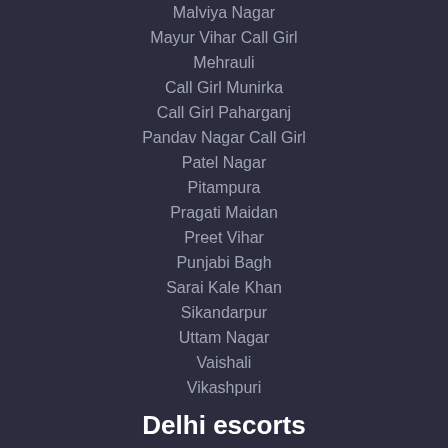Malviya Nagar
Mayur Vihar Call Girl
Mehrauli
Call Girl Munirka
Call Girl Paharganj
Pandav Nagar Call Girl
Patel Nagar
Pitampura
Pragati Maidan
Preet Vihar
Punjabi Bagh
Sarai Kale Khan
Sikandarpur
Uttam Nagar
Vaishali
Vikashpuri
Delhi escorts